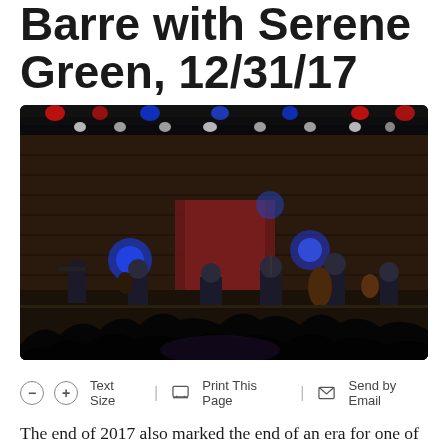Barre with Serene Green, 12/31/17
[Figure (photo): Concert photograph showing a bluegrass/folk band performing on a dark stage with colorful stage lighting. Multiple musicians visible including fiddle player, guitarist, upright bass player. Audience silhouettes in foreground. Blue and red stage lights overhead.]
– + Text Size | Print This Page | Send by Email
The end of 2017 also marked the end of an era for one of Northeastern Pennsylvania's most popular and successful local bands, Cabinet.
Less than two weeks before their short New Year's Eve tour that stopped at Higher Ground in Burlington, Vermont on Friday, Dec. 29, the